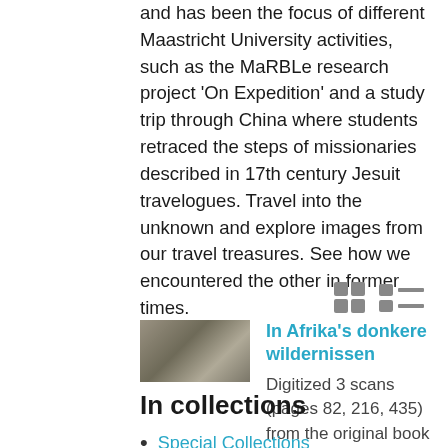and has been the focus of different Maastricht University activities, such as the MaRBLe research project 'On Expedition' and a study trip through China where students retraced the steps of missionaries described in 17th century Jesuit travelogues. Travel into the unknown and explore images from our travel treasures. See how we encountered the other in former times.
[Figure (other): View toggle icons: grid view and list view buttons]
[Figure (photo): Thumbnail image for 'In Afrika's donkere wildernissen', showing a worn or textured surface]
In Afrika's donkere wildernissen
Digitized 3 scans (pages 82, 216, 435) from the original book
In collections
Special Collections